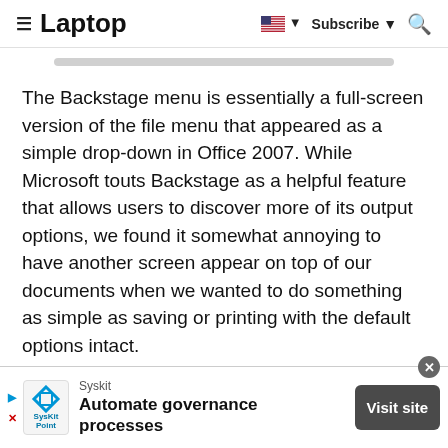≡ Laptop  🇺🇸 ▼  Subscribe ▼  🔍
The Backstage menu is essentially a full-screen version of the file menu that appeared as a simple drop-down in Office 2007. While Microsoft touts Backstage as a helpful feature that allows users to discover more of its output options, we found it somewhat annoying to have another screen appear on top of our documents when we wanted to do something as simple as saving or printing with the default options intact.
Advertisement
Syskit
Automate governance processes
Visit site